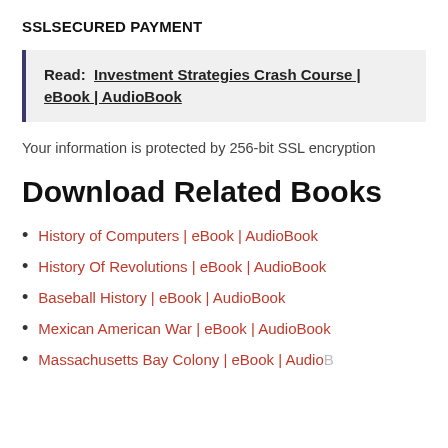SSLSECURED PAYMENT
Read: Investment Strategies Crash Course | eBook | AudioBook
Your information is protected by 256-bit SSL encryption
Download Related Books
History of Computers | eBook | AudioBook
History Of Revolutions | eBook | AudioBook
Baseball History | eBook | AudioBook
Mexican American War | eBook | AudioBook
Massachusetts Bay Colony | eBook | AudioBook